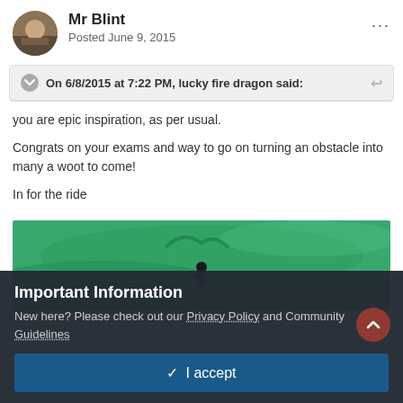[Figure (photo): User avatar photo of Mr Blint]
Mr Blint
Posted June 9, 2015
On 6/8/2015 at 7:22 PM, lucky fire dragon said:
you are epic inspiration, as per usual.

Congrats on your exams and way to go on turning an obstacle into many a woot to come!

In for the ride
[Figure (photo): Green wave photo with a surfer or rider, illustrating 'in for the ride']
Important Information
New here? Please check out our Privacy Policy and Community Guidelines